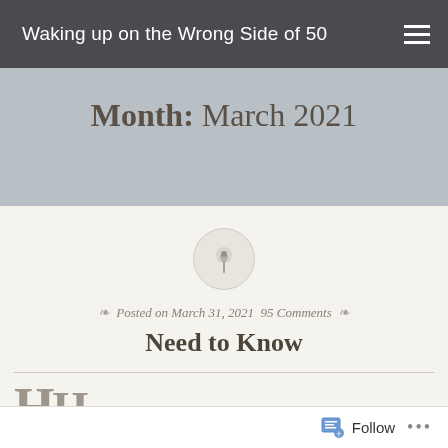Waking up on the Wrong Side of 50
Month: March 2021
[Figure (illustration): Pin/thumbtack icon inside a light gray circle]
Posted on March 31, 2021 95 Comments
Need to Know
ow often do you search things on the